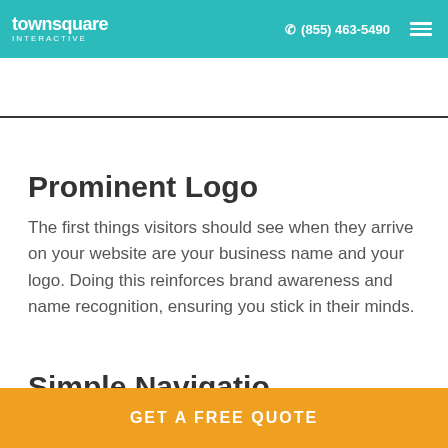townsquare interactive | (855) 463-5490
[Figure (photo): Dark banner image strip, partially visible at top of page below navigation bar]
Prominent Logo
The first things visitors should see when they arrive on your website are your business name and your logo. Doing this reinforces brand awareness and name recognition, ensuring you stick in their minds.
Simple Navigation
GET A FREE QUOTE